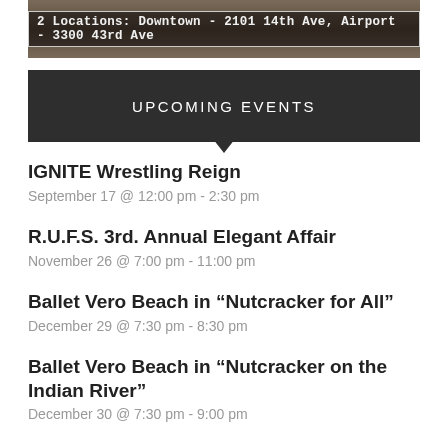[Figure (photo): Banner image with text overlay showing two locations: Downtown - 2101 14th Ave, Airport - 3300 43rd Ave]
UPCOMING EVENTS
IGNITE Wrestling Reign
September 17 @ 12:00 pm - 2:30 pm
R.U.F.S. 3rd. Annual Elegant Affair
November 26 @ 7:00 pm - 11:00 pm
Ballet Vero Beach in “Nutcracker for All”
December 29 @ 7:30 pm - 8:30 pm
Ballet Vero Beach in “Nutcracker on the Indian River”
December 30 @ 7:30 pm - 9:00 pm
Ballet Vero Beach in “Nutcracker on the Indian River”